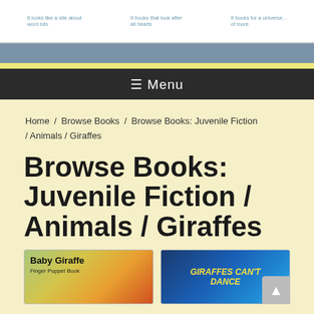It looks like a site about... / It books that look after... / It books for a universe... of more
☰ Menu
Home / Browse Books / Browse Books: Juvenile Fiction / Animals / Giraffes
Browse Books: Juvenile Fiction / Animals / Giraffes
[Figure (photo): Book cover for 'Baby Giraffe Finger Puppet Book' with colorful giraffe illustration]
[Figure (photo): Book cover for 'Giraffes Can't Dance' with giraffe on blue background]